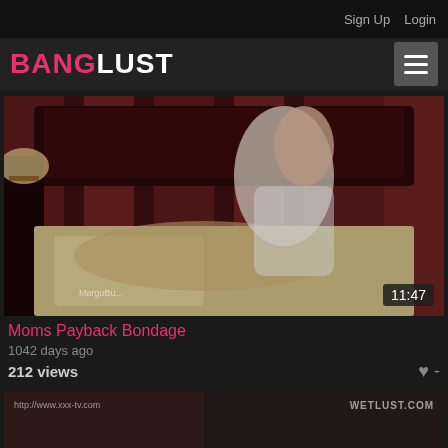Sign Up  Login
BANGLUST
[Figure (screenshot): Video thumbnail showing two women in a bedroom scene, duration badge showing 11:47]
Moms Payback Bondage
1042 days ago
212 views
[Figure (screenshot): Partial video thumbnail with watermarks http://www.xxx-tv.com and WETLUST.COM]